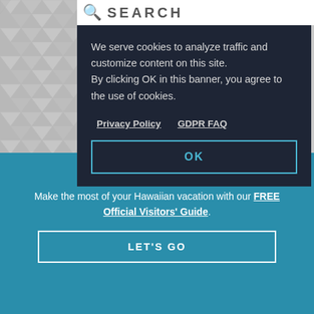SEARCH
We serve cookies to analyze traffic and customize content on this site. By clicking OK in this banner, you agree to the use of cookies.
Privacy Policy   GDPR FAQ
OK
Filters
BACK TO TOP
Dream It. Do it.
Make the most of your Hawaiian vacation with our FREE Official Visitors' Guide.
LET'S GO
RESET